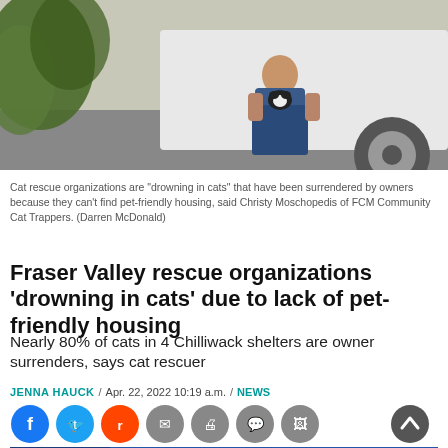[Figure (photo): A person crouching near a white car, holding a black and white cat, with green leafy plants visible on the left side and a car wheel on the right.]
Cat rescue organizations are “drowning in cats” that have been surrendered by owners because they can’t find pet-friendly housing, said Christy Moschopedis of FCM Community Cat Trappers. (Darren McDonald)
Fraser Valley rescue organizations ‘drowning in cats’ due to lack of pet-friendly housing
Nearly 80% of cats in 4 Chilliwack shelters are owner surrenders, says cat rescuer
JENNA HAUCK / Apr. 22, 2022 10:19 a.m. / NEWS
[Figure (infographic): Social media sharing icons: Facebook, Twitter, Reddit, Email, Print, Comment, Photo. And a scroll-to-top button.]
[Figure (infographic): Kitselas advertisement banner: Kitselas Members! Don't miss our monthly Treaty Info Sessions. TAP FOR MORE INFO]